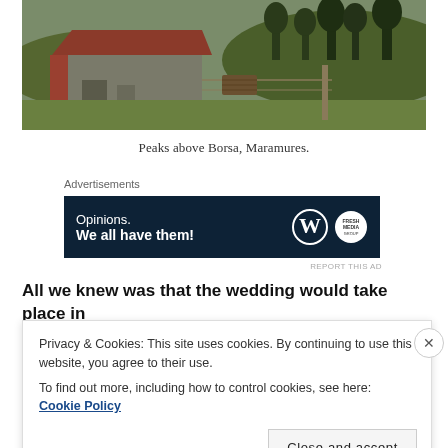[Figure (photo): Landscape photo showing a rural farm scene with a wooden barn with a red/rust corrugated roof, green fields, trees, and a fence post in the foreground. Mountains and hills in the background.]
Peaks above Borsa, Maramures.
Advertisements
[Figure (other): Advertisement banner with dark navy background reading 'Opinions. We all have them!' with WordPress and another logo on the right.]
REPORT THIS AD
All we knew was that the wedding would take place in
Privacy & Cookies: This site uses cookies. By continuing to use this website, you agree to their use.
To find out more, including how to control cookies, see here: Cookie Policy
Close and accept